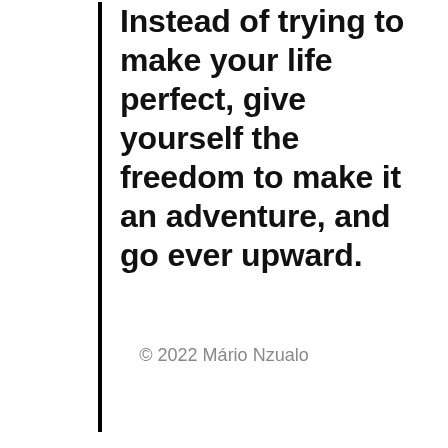Instead of trying to make your life perfect, give yourself the freedom to make it an adventure, and go ever upward.
© 2022 Mário Nzualo